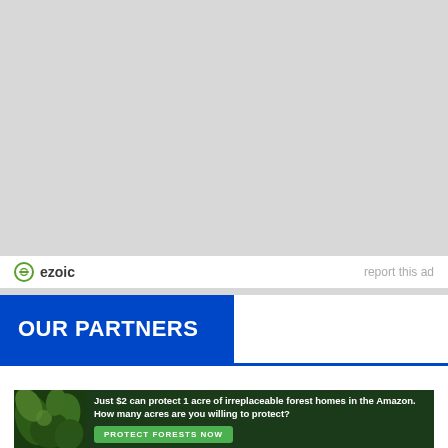[Figure (other): Gray advertisement placeholder area]
ezoic   report this ad
OUR PARTNERS
[Figure (photo): Amazon forest banner ad: Just $2 can protect 1 acre of irreplaceable forest homes in the Amazon. How many acres are you willing to protect? PROTECT FORESTS NOW]